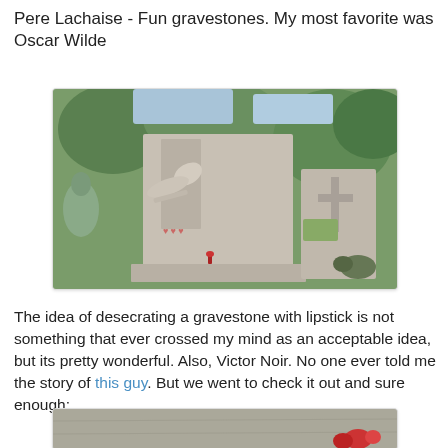Pere Lachaise - Fun gravestones. My most favorite was Oscar Wilde
[Figure (photo): Photograph of Oscar Wilde's gravestone at Pere Lachaise cemetery in Paris. The gravestone features a large stone sphinx-like figure with an outstretched arm. Red lipstick marks are visible on the stone. A cross gravestone is visible to the right. Green trees are in the background.]
The idea of desecrating a gravestone with lipstick is not something that ever crossed my mind as an acceptable idea, but its pretty wonderful. Also, Victor Noir. No one ever told me the story of this guy. But we went to check it out and sure enough:
[Figure (photo): Partial photograph cropped at bottom of page showing a stone surface with red flowers, presumably the grave of Victor Noir at Pere Lachaise cemetery.]